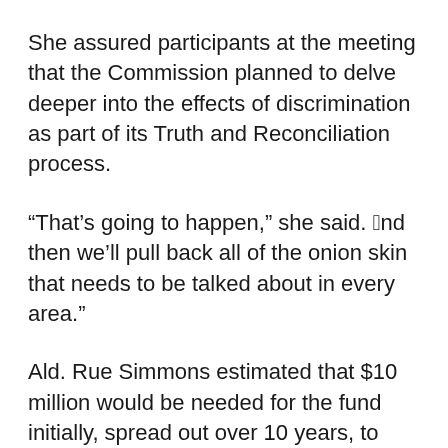She assured participants at the meeting that the Commission planned to delve deeper into the effects of discrimination as part of its Truth and Reconciliation process.
“That’s going to happen,” she said. “And then we’ll pull back all of the onion skin that needs to be talked about in every area.”
Ald. Rue Simmons estimated that $10 million would be needed for the fund initially, spread out over 10 years, to compensate for the individual and communal damage as a result of historical racism and discrimination.